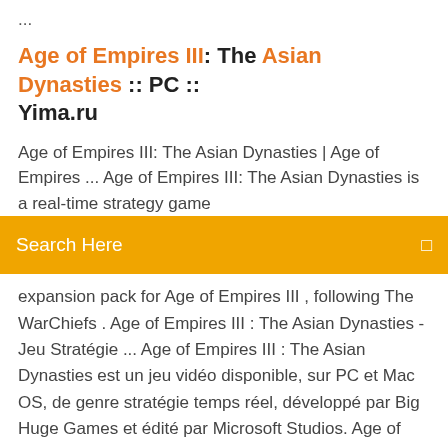...
Age of Empires III: The Asian Dynasties :: PC :: Yima.ru
Age of Empires III: The Asian Dynasties | Age of Empires ... Age of Empires III: The Asian Dynasties is a real-time strategy game
[Figure (other): Search bar with orange background and placeholder text 'Search Here']
expansion pack for Age of Empires III , following The WarChiefs . Age of Empires III : The Asian Dynasties - Jeu Stratégie ... Age of Empires III : The Asian Dynasties est un jeu vidéo disponible, sur PC et Mac OS, de genre stratégie temps réel, développé par Big Huge Games et édité par Microsoft Studios. Age of Empires III: The Asian Dynasties - Free Download Download Age of Empires III: The Asian Dynasties. Expansion pack for the game where you build civilizations. Virus Free Expansion pack for the game where you build civilizations. Virus Free Expansion pack